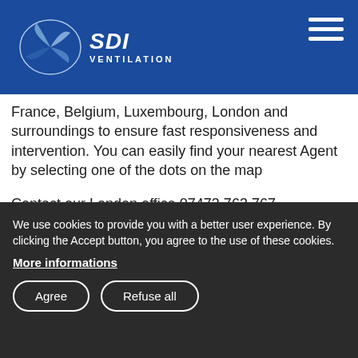SDI VENTILATION
France, Belgium, Luxembourg, London and surroundings to ensure fast responsiveness and intervention. You can easily find your nearest Agent by selecting one of the dots on the map
Contact our London office 07473 763 767 or 07770 382 363
[Figure (map): Map illustration showing UK and part of continental Europe in dark blue, with white location pin markers indicating agent locations including one near London and several on continental Europe.]
We use cookies to provide you with a better user experience. By clicking the Accept button, you agree to the use of these cookies. More informations
Agree   Refuse all